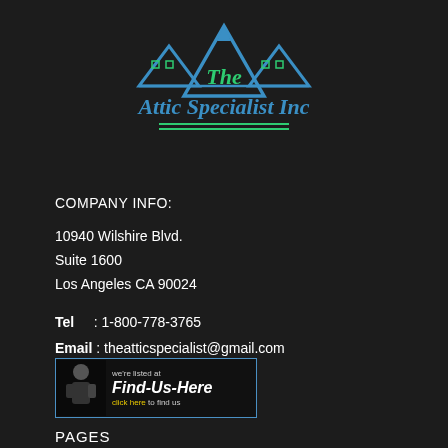[Figure (logo): The Attic Specialist Inc logo with house/roof graphic in blue and green colors, company name in teal/green script font]
COMPANY INFO:
10940 Wilshire Blvd.
Suite 1600
Los Angeles CA 90024
Tel : 1-800-778-3765
Email : theatticspecialist@gmail.com
[Figure (logo): Find-Us-Here banner advertisement with man in suit, text: we're listed at Find-Us-Here click here to find us]
PAGES